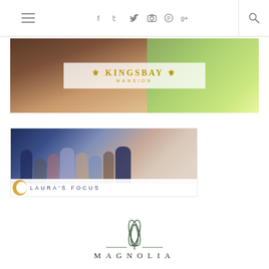[Figure (screenshot): Website navigation bar with hamburger menu, social media icons (Facebook, Twitter, Instagram, Pinterest, Google+), and search icon]
[Figure (photo): Kingsbay Mansion advertisement banner showing a couple embracing with the Kingsbay Mansion logo overlaid on a semi-transparent white box]
[Figure (photo): Laura's Focus photography advertisement showing a wedding celebration crowd with the Laura's Focus logo on a white banner at the bottom]
[Figure (logo): Magnolia logo with a sketched magnolia bud illustration above horizontal lines and the text MAGNOLIA]